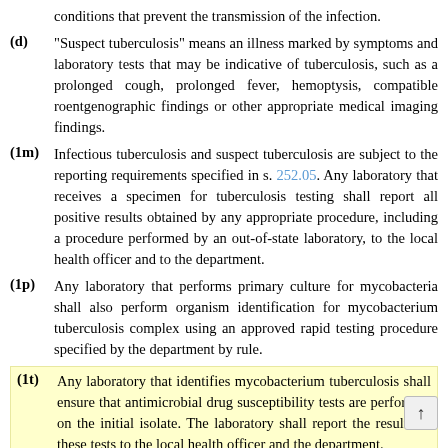conditions that prevent the transmission of the infection.
(d) “Suspect tuberculosis” means an illness marked by symptoms and laboratory tests that may be indicative of tuberculosis, such as a prolonged cough, prolonged fever, hemoptysis, compatible roentgenographic findings or other appropriate medical imaging findings.
(1m) Infectious tuberculosis and suspect tuberculosis are subject to the reporting requirements specified in s. 252.05. Any laboratory that receives a specimen for tuberculosis testing shall report all positive results obtained by any appropriate procedure, including a procedure performed by an out-of-state laboratory, to the local health officer and to the department.
(1p) Any laboratory that performs primary culture for mycobacteria shall also perform organism identification for mycobacterium tuberculosis complex using an approved rapid testing procedure specified by the department by rule.
(1t) Any laboratory that identifies mycobacterium tuberculosis shall ensure that antimicrobial drug susceptibility tests are performed on the initial isolate. The laboratory shall report the results of these tests to the local health officer and the department.
(2) The department shall identify groups at risk for contracting or transmitting mycobacterium tuberculosis and shall recommend the protocol for screening members of those groups.